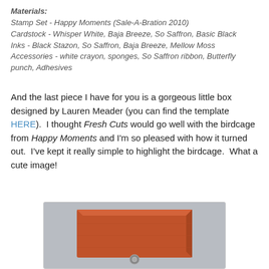Materials: Stamp Set - Happy Moments (Sale-A-Bration 2010) Cardstock - Whisper White, Baja Breeze, So Saffron, Basic Black Inks - Black Stazon, So Saffron, Baja Breeze, Mellow Moss Accessories - white crayon, sponges, So Saffron ribbon, Butterfly punch, Adhesives
And the last piece I have for you is a gorgeous little box designed by Lauren Meader (you can find the template HERE).  I thought Fresh Cuts would go well with the birdcage from Happy Moments and I'm so pleased with how it turned out.  I've kept it really simple to highlight the birdcage.  What a cute image!
[Figure (photo): Photo of a small orange/red decorative box with a button closure, sitting on a grey surface.]